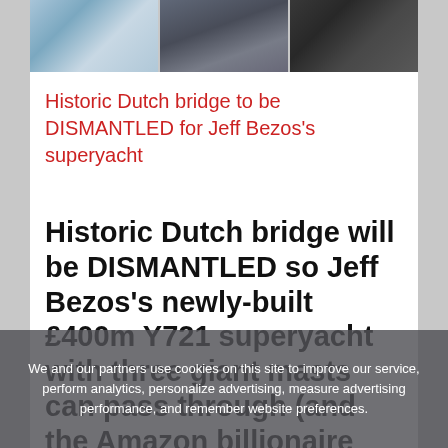[Figure (photo): Three thumbnail images in a strip at the top: a map/satellite image on the left, a dark shipyard/bridge photo in the center, and a couple at a formal event on the right.]
Historic Dutch bridge to be DISMANTLED for Jeff Bezos's superyacht
Historic Dutch bridge will be DISMANTLED so Jeff Bezos's newly-built £400m Y721 superyacht with three giant masts can pass through (and the Amazon billionaire will foot the bill)
We and our partners use cookies on this site to improve our service, perform analytics, personalize advertising, measure advertising performance, and remember website preferences.